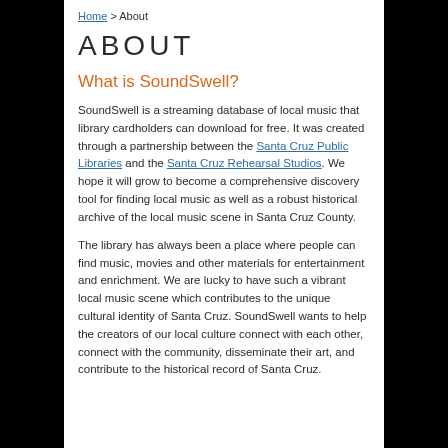Home > About
ABOUT
What is SoundSwell?
SoundSwell is a streaming database of local music that library cardholders can download for free. It was created through a partnership between the Santa Cruz Public Libraries and the Santa Cruz Rehearsal Studios. We hope it will grow to become a comprehensive discovery tool for finding local music as well as a robust historical archive of the local music scene in Santa Cruz County.
The library has always been a place where people can find music, movies and other materials for entertainment and enrichment. We are lucky to have such a vibrant local music scene which contributes to the unique cultural identity of Santa Cruz. SoundSwell wants to help the creators of our local culture connect with each other, connect with the community, disseminate their art, and contribute to the historical record of Santa Cruz.